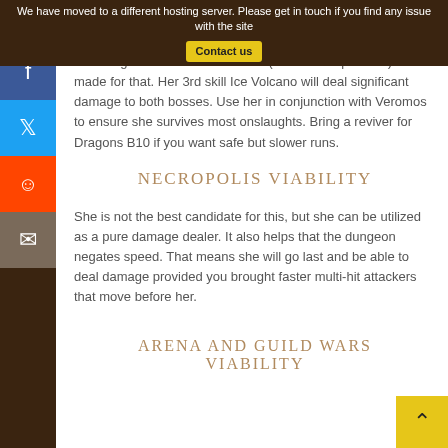We have moved to a different hosting server. Please get in touch if you find any issue with the site  Contact us
and Dragons B10. Her leader skill(44% base hp bonus) is made for that. Her 3rd skill Ice Volcano will deal significant damage to both bosses. Use her in conjunction with Veromos to ensure she survives most onslaughts. Bring a reviver for Dragons B10 if you want safe but slower runs.
NECROPOLIS VIABILITY
She is not the best candidate for this, but she can be utilized as a pure damage dealer. It also helps that the dungeon negates speed. That means she will go last and be able to deal damage provided you brought faster multi-hit attackers that move before her.
ARENA AND GUILD WARS VIABILITY